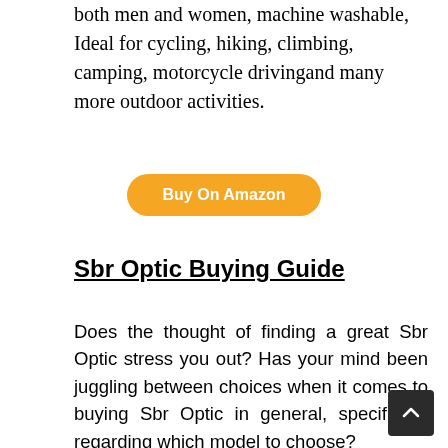both men and women, machine washable, Ideal for cycling, hiking, climbing, camping, motorcycle drivingand many more outdoor activities.
[Figure (other): Buy On Amazon button — orange rounded rectangle with white bold text]
Sbr Optic Buying Guide
Does the thought of finding a great Sbr Optic stress you out? Has your mind been juggling between choices when it comes to buying Sbr Optic in general, specifically regarding which model to choose?
If that's the case, know that you're not a
Many people find it tough to buy the perfect Sbr